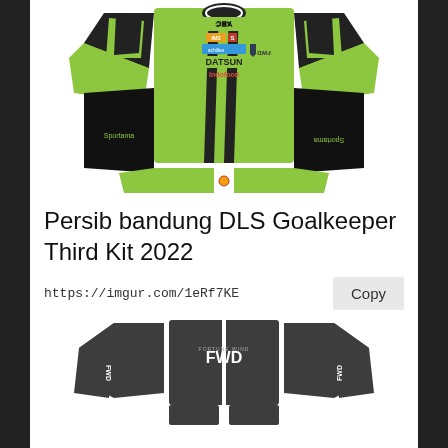[Figure (illustration): Persib bandung DLS Goalkeeper Third Kit 2022 - lime green goalkeeper jersey kit texture with black panels, Datsun Indofood and Sportama logos, shown as flat lay top half]
Persib bandung DLS Goalkeeper Third Kit 2022
https://imgur.com/1eRf7KE
[Figure (illustration): Goalkeeper shorts/pants kit texture in dark charcoal/grey color with FWD logo, shown as flat lay bottom half]